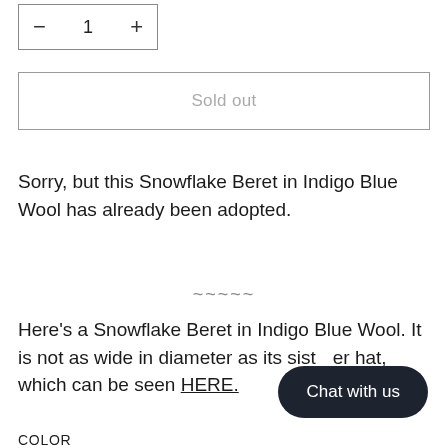[Figure (screenshot): Quantity selector box with minus button, number 1, and plus button]
Sold out
Sorry, but this Snowflake Beret in Indigo Blue Wool has already been adopted.
~~~~~
Here's a Snowflake Beret in Indigo Blue Wool. It is not as wide in diameter as its sister hat, which can be seen HERE.
COLOR